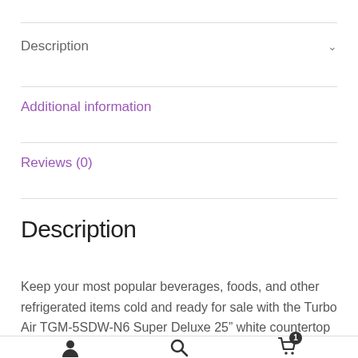Description
Additional information
Reviews (0)
Description
Keep your most popular beverages, foods, and other refrigerated items cold and ready for sale with the Turbo Air TGM-5SDW-N6 Super Deluxe 25" white countertop